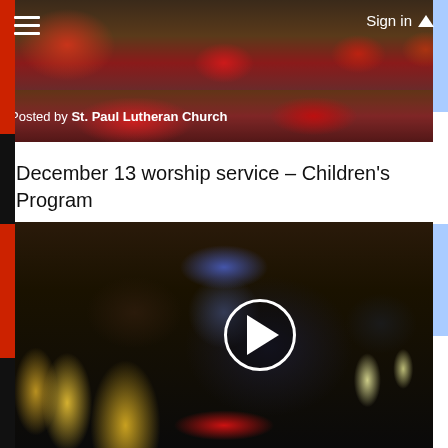[Figure (photo): Church Christmas decoration photo used as top navigation bar background with poinsettias and nativity scene]
Sign in
Posted by St. Paul Lutheran Church
December 13 worship service – Children's Program
[Figure (photo): Video thumbnail of a pastor with arms raised at a church altar with Christmas decorations including a Christmas tree and candles, with a play button overlay]